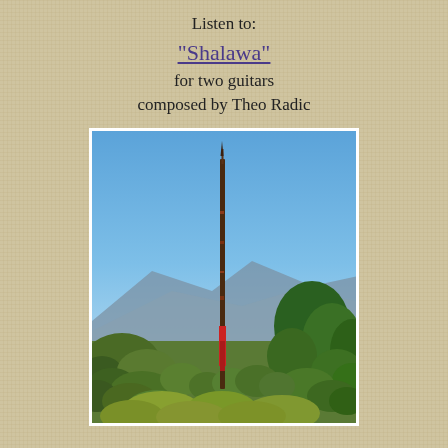Listen to:
"Shalawa"
for two guitars
composed by Theo Radic
[Figure (photo): A tall, slender pole or mast standing in a landscape with blue sky, mountains in the background, and trees and green vegetation at the base on the right side.]